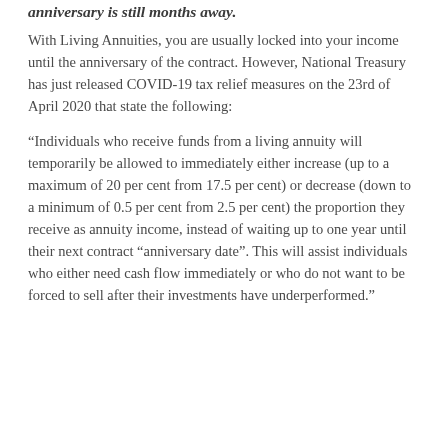anniversary is still months away.
With Living Annuities, you are usually locked into your income until the anniversary of the contract. However, National Treasury has just released COVID-19 tax relief measures on the 23rd of April 2020 that state the following:
“Individuals who receive funds from a living annuity will temporarily be allowed to immediately either increase (up to a maximum of 20 per cent from 17.5 per cent) or decrease (down to a minimum of 0.5 per cent from 2.5 per cent) the proportion they receive as annuity income, instead of waiting up to one year until their next contract “anniversary date”. This will assist individuals who either need cash flow immediately or who do not want to be forced to sell after their investments have underperformed.”